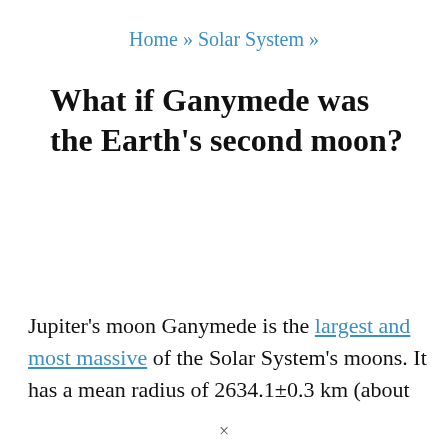Home » Solar System »
What if Ganymede was the Earth's second moon?
Jupiter's moon Ganymede is the largest and most massive of the Solar System's moons. It has a mean radius of 2634.1±0.3 km (about